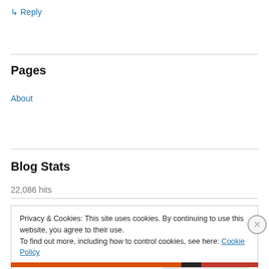↳ Reply
Pages
About
Blog Stats
22,086 hits
Privacy & Cookies: This site uses cookies. By continuing to use this website, you agree to their use.
To find out more, including how to control cookies, see here: Cookie Policy
Close and accept